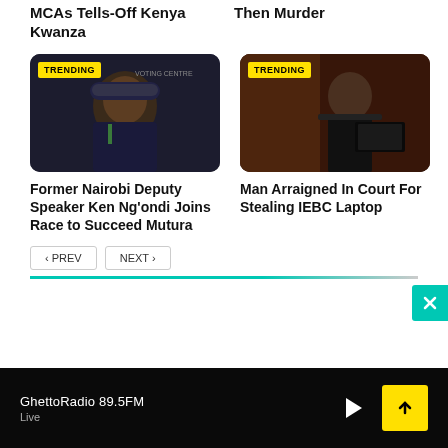MCAs Tells-Off Kenya Kwanza
Then Murder
[Figure (photo): Man in dark clothing at a voting centre at night, wearing a cap, TRENDING badge]
[Figure (photo): Man in suit standing at a podium/desk in a courtroom, TRENDING badge]
Former Nairobi Deputy Speaker Ken Ng'ondi Joins Race to Succeed Mutura
Man Arraigned In Court For Stealing IEBC Laptop
< PREV   NEXT >
GhettoRadio 89.5FM
Live